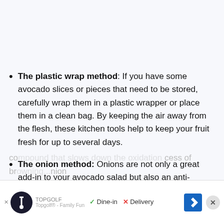The plastic wrap method: If you have some avocado slices or pieces that need to be stored, carefully wrap them in a plastic wrapper or place them in a clean bag. By keeping the air away from the flesh, these kitchen tools help to keep your fruit fresh for up to several days.
The onion method: Onions are not only a great add-in to your avocado salad but also an anti-browning ingredient. This pungent veggie contains sulfur, a co[mpound that slows down the oxidation] cess of br[owning]...nion
[Figure (other): Advertisement bar at bottom: Topgolf logo with checkmark Dine-in, X Delivery, navigation arrow icon, close button, and partial text 'Topgolf® - Family Fun']